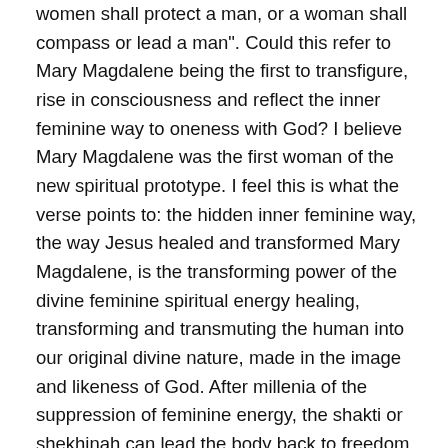women shall protect a man, or a woman shall compass or lead a man". Could this refer to Mary Magdalene being the first to transfigure, rise in consciousness and reflect the inner feminine way to oneness with God? I believe Mary Magdalene was the first woman of the new spiritual prototype. I feel this is what the verse points to: the hidden inner feminine way, the way Jesus healed and transformed Mary Magdalene, is the transforming power of the divine feminine spiritual energy healing, transforming and transmuting the human into our original divine nature, made in the image and likeness of God. After millenia of the suppression of feminine energy, the shakti or shekhinah can lead the body back to freedom, wholeness, oneness and reunion with the Divine Masculine and the Divine Feminine.

The resacralized body is restored to the original divine